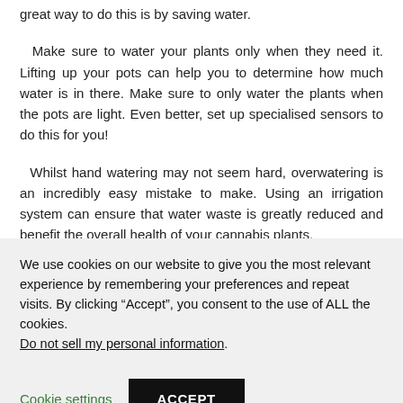great way to do this is by saving water.
Make sure to water your plants only when they need it. Lifting up your pots can help you to determine how much water is in there. Make sure to only water the plants when the pots are light. Even better, set up specialised sensors to do this for you!
Whilst hand watering may not seem hard, overwatering is an incredibly easy mistake to make. Using an irrigation system can ensure that water waste is greatly reduced and benefit the overall health of your cannabis plants.
We use cookies on our website to give you the most relevant experience by remembering your preferences and repeat visits. By clicking “Accept”, you consent to the use of ALL the cookies. Do not sell my personal information.
Cookie settings
ACCEPT